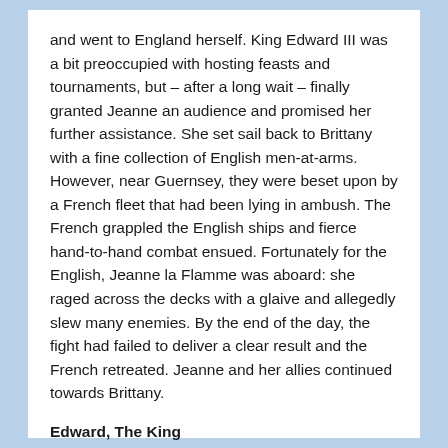and went to England herself. King Edward III was a bit preoccupied with hosting feasts and tournaments, but – after a long wait – finally granted Jeanne an audience and promised her further assistance. She set sail back to Brittany with a fine collection of English men-at-arms. However, near Guernsey, they were beset upon by a French fleet that had been lying in ambush. The French grappled the English ships and fierce hand-to-hand combat ensued. Fortunately for the English, Jeanne la Flamme was aboard: she raged across the decks with a glaive and allegedly slew many enemies. By the end of the day, the fight had failed to deliver a clear result and the French retreated. Jeanne and her allies continued towards Brittany.
Edward, The King